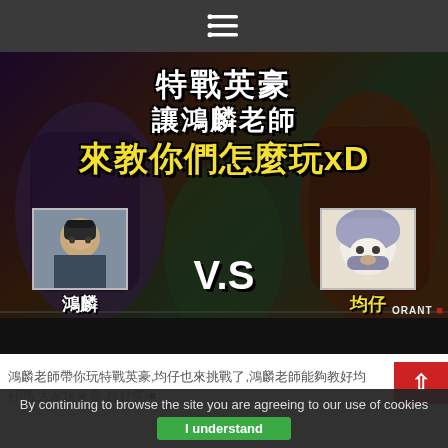☰ (hamburger menu icon)
[Figure (screenshot): YouTube thumbnail for a Valorant gaming video. Text overlays in Chinese: '特戰英豪 讓鴻麟老師 來教你們怎麼玩xD'. Shows two player photos with labels '鴻麟' and '均仔' with 'V.S' between them. Background shows Valorant game characters. Bottom has 'VALORANT' watermark.]
鴻麟老師帶你玩特戰英豪,均仔也來挑戰了,鴻麟老師能夠教好均仔嗎,大家快來看,超好笑!■
By continuing to browse the site you are agreeing to our use of cookies
I understand